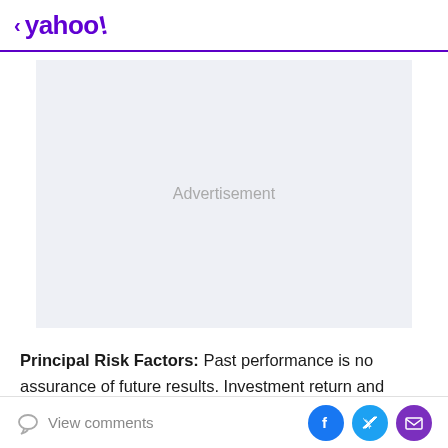< yahoo!
[Figure (other): Advertisement placeholder box with light gray background and 'Advertisement' text centered]
Principal Risk Factors: Past performance is no assurance of future results. Investment return and market value of an investment in the Fund will fluctuate. Shares, when sold, may be worth more or less than their original cost
View comments | Facebook share | Twitter share | Email share